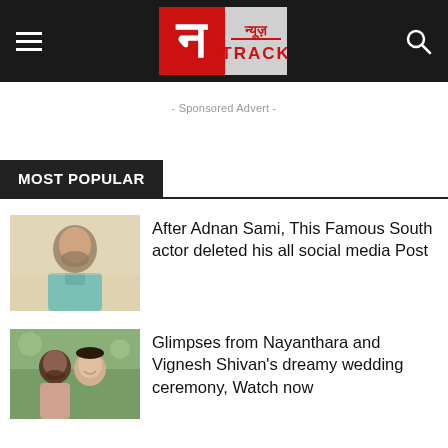न्यूज़ TRACK
- Sponsored Advert -
MOST POPULAR
[Figure (photo): Photo of a man in a light blue shirt, bearded, on a light background.]
After Adnan Sami, This Famous South actor deleted his all social media Post
[Figure (photo): Photo of a couple, woman smiling, man with beard, in a romantic outdoor setting.]
Glimpses from Nayanthara and Vignesh Shivan's dreamy wedding ceremony, Watch now